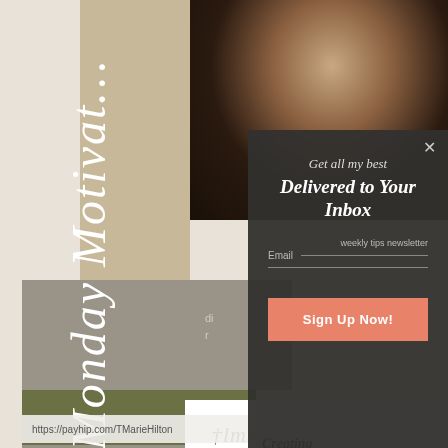[Figure (screenshot): Background collage showing a blog/website screenshot with 'Monday Motivation' vertical text on tan/beige strip, a photo of two people at top right, a logo box with 'lmh' script, olive green strip, and URL bar showing https://payhip.com/TMarieHilton at the bottom. A book preview with 'Creating' text is visible at bottom right.]
Get all my best
Delivered to Your Inbox
weekly tips newsletter
Email
Sign Up Now!
×
https://payhip.com/TMarieHilton
Creating